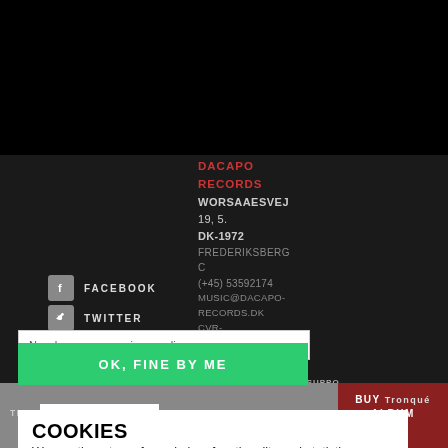DACAPO RECORDS
WORSAAESVEJ 19, 5. DK-1972 FREDERIKSBERG C (+45) 53592174 MUSIC@DACAPO-RECORDS.DK CVR- R. 13314179
FACEBOOK
TWITTER
YOUTUBE
INSTAGRAM
COOKIES
We use them too – for webshop functionality and statistics.
No, show me your privacy policy
OK, FINE BY ME
DACAPO IS SUPPO
DANISH A
TRACK  LINER  CREDITS  STREAM  BUY ALBUM  Tronqué
NO, THANKS